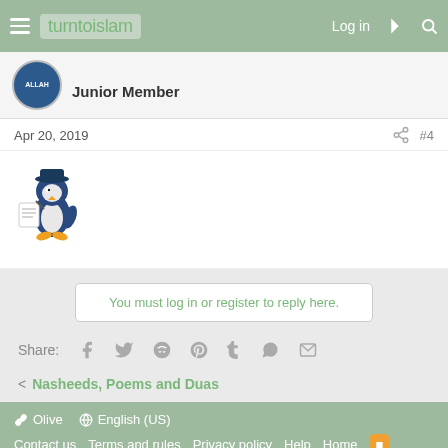turntoislam — Log in
Junior Member
Apr 20, 2019  #4
[Figure (illustration): Cartoon penguin emoji writing/reading, seated]
You must log in or register to reply here.
Share: Facebook Twitter Reddit Pinterest Tumblr WhatsApp Email
< Nasheeds, Poems and Duas
Olive  English (US)  Contact us  Terms and rules  Privacy policy  Help  Home  Community platform by XenForo® © 2010-2021 XenForo Ltd.